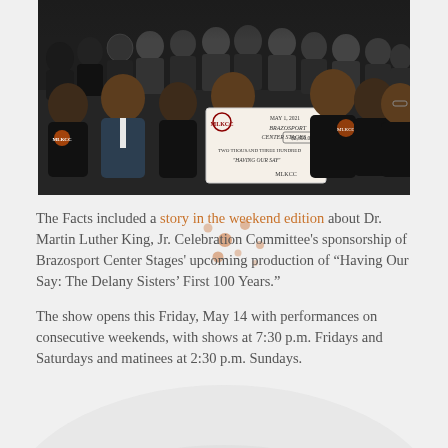[Figure (photo): Group photo of people in black t-shirts holding a large ceremonial check dated May 1, 2021 made out to Brazosport Center Stages for $2,300.00, two thousand three hundred dollars, signed MLKCC, for 'Having Our Say']
The Facts included a story in the weekend edition about Dr. Martin Luther King, Jr. Celebration Committee's sponsorship of Brazosport Center Stages' upcoming production of “Having Our Say: The Delany Sisters’ First 100 Years.”
The show opens this Friday, May 14 with performances on consecutive weekends, with shows at 7:30 p.m. Fridays and Saturdays and matinees at 2:30 p.m. Sundays.